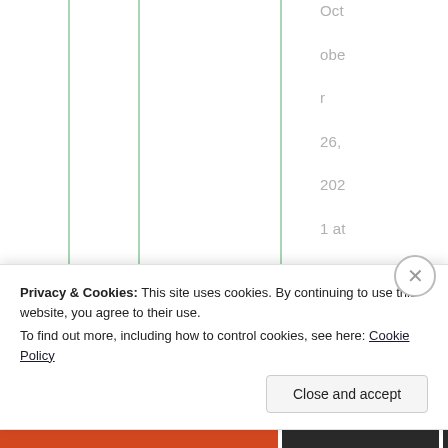October 26, 2021 at 2:10 am
I hate particular
Privacy & Cookies: This site uses cookies. By continuing to use this website, you agree to their use.
To find out more, including how to control cookies, see here: Cookie Policy
Close and accept